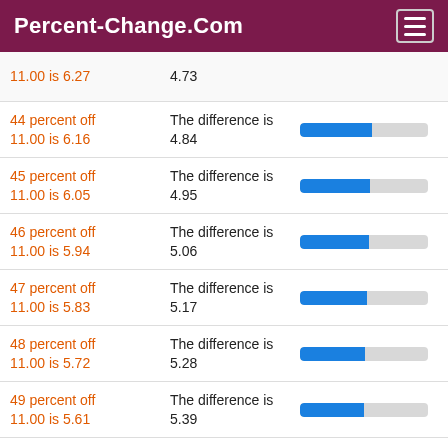Percent-Change.Com
11.00 is 6.27 | The difference is 4.73
44 percent off 11.00 is 6.16 | The difference is 4.84
45 percent off 11.00 is 6.05 | The difference is 4.95
46 percent off 11.00 is 5.94 | The difference is 5.06
47 percent off 11.00 is 5.83 | The difference is 5.17
48 percent off 11.00 is 5.72 | The difference is 5.28
49 percent off 11.00 is 5.61 | The difference is 5.39
50 percent off | The difference is